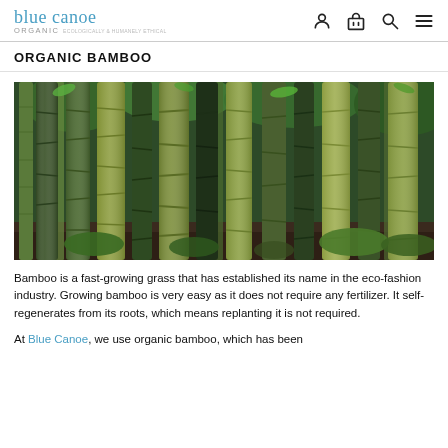blue canoe organic
ORGANIC BAMBOO
[Figure (photo): Dense forest of tall bamboo stalks with green leaves, photographed up close showing the textured green and yellow-brown canes]
Bamboo is a fast-growing grass that has established its name in the eco-fashion industry. Growing bamboo is very easy as it does not require any fertilizer. It self-regenerates from its roots, which means replanting it is not required.
At Blue Canoe, we use organic bamboo, which has been